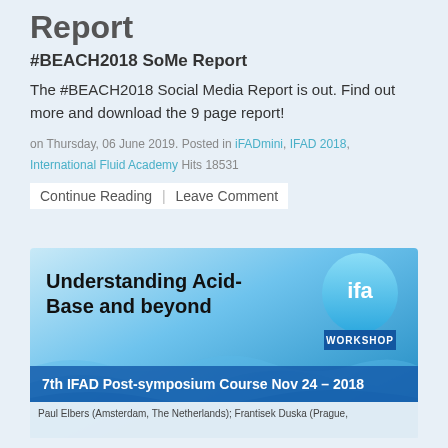Report
#BEACH2018 SoMe Report
The #BEACH2018 Social Media Report is out. Find out more and download the 9 page report!
on Thursday, 06 June 2019. Posted in iFADmini, IFAD 2018, International Fluid Academy Hits 18531
Continue Reading | Leave Comment
[Figure (illustration): Banner image for 7th IFAD Post-symposium Course 'Understanding Acid-Base and beyond', Nov 24 – 2018. Features IFA Workshop logo and water/wave imagery. Caption: Paul Elbers (Amsterdam, The Netherlands); Frantisek Duska (Prague,]